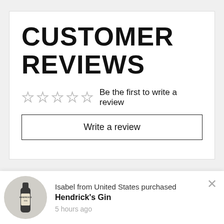CUSTOMER REVIEWS
☆☆☆☆☆  Be the first to write a review
Write a review
YOU MAY ALSO LIKE
Connemara
Isabel from United States purchased
Hendrick's Gin
5 hours ago